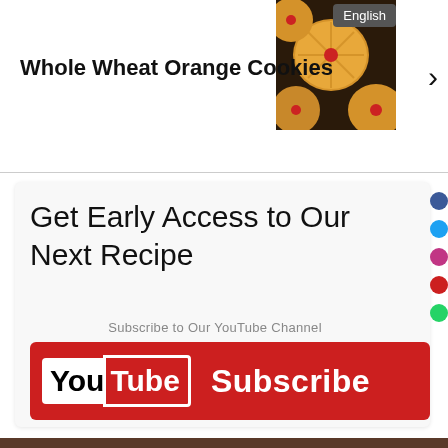[Figure (photo): Photo of Whole Wheat Orange Cookies - golden round cookies with red cherry centers on a dark background]
Whole Wheat Orange Cookies
Get Early Access to Our Next Recipe
Subscribe to Our YouTube Channel
[Figure (other): YouTube Subscribe button - red background with YouTube logo on left and Subscribe text on right]